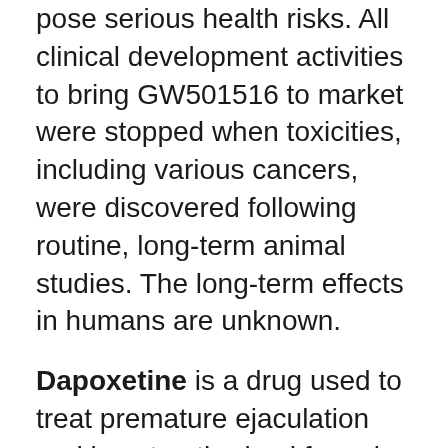pose serious health risks. All clinical development activities to bring GW501516 to market were stopped when toxicities, including various cancers, were discovered following routine, long-term animal studies. The long-term effects in humans are unknown.
Dapoxetine is a drug used to treat premature ejaculation and is not authorized for sale in Canada. Side effects include fainting or loss of consciousness, dizziness, changes in blood pressure, blurred vision, seizures, headache, diarrhea and nausea. In particular, dapoxetine